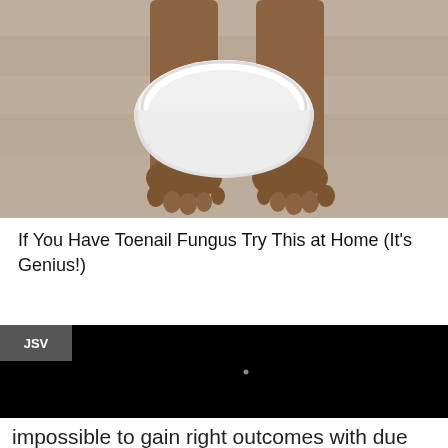[Figure (photo): Person's bare feet on a wooden floor with a white plastic basin/bowl between them, viewed from above]
If You Have Toenail Fungus Try This at Home (It's Genius!)
[Figure (screenshot): Black video player area with JSV label badge in top left corner and a small dot/cursor in the center]
impossible to gain right outcomes with due